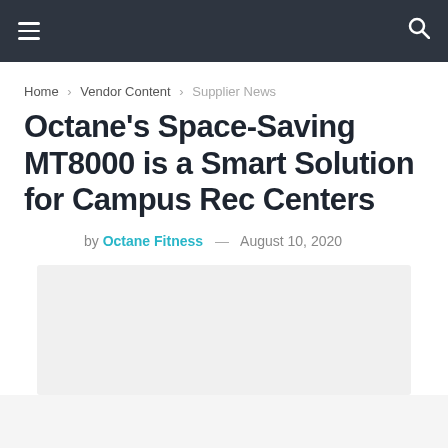≡  [navigation bar]  🔍
Home › Vendor Content › Supplier News
Octane's Space-Saving MT8000 is a Smart Solution for Campus Rec Centers
by Octane Fitness — August 10, 2020
[Figure (photo): Light grey image placeholder area below the article byline]